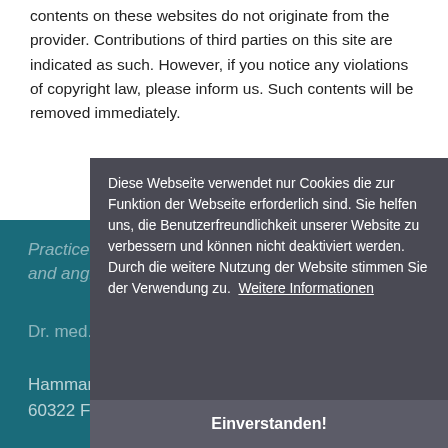contents on these websites do not originate from the provider. Contributions of third parties on this site are indicated as such. However, if you notice any violations of copyright law, please inform us. Such contents will be removed immediately.
Practice for cardiology and angiology
Dr. med...
Hammanstraße 10
60322 Frankfurt am Main
Diese Webseite verwendet nur Cookies die zur Funktion der Webseite erforderlich sind. Sie helfen uns, die Benutzerfreundlichkeit unserer Website zu verbessern und können nicht deaktiviert werden. Durch die weitere Nutzung der Website stimmen Sie der Verwendung zu. Weitere Informationen
Einverstanden!